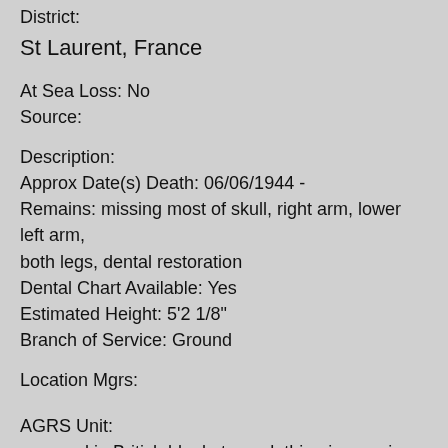District:
St Laurent, France
At Sea Loss: No
Source:
Description:
Approx Date(s) Death: 06/06/1944 -
Remains: missing most of skull, right arm, lower left arm, both legs, dental restoration
Dental Chart Available: Yes
Estimated Height: 5'2 1/8"
Branch of Service: Ground
Location Mgrs:
AGRS Unit:
wrapped in British blanket, no clothing in remains